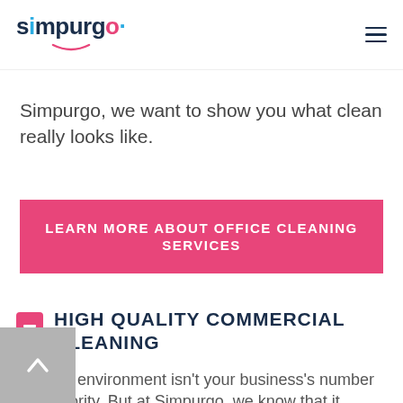simpurgo [logo] [hamburger menu]
current customers experience when they clean up your no matter what situation has led to your search for janitorial services.
Simpurgo, we want to show you what clean really looks like.
LEARN MORE ABOUT OFFICE CLEANING SERVICES
HIGH QUALITY COMMERCIAL CLEANING
A clean environment isn't your business's number one priority. But at Simpurgo, we know that it allows your organization to better focus on the